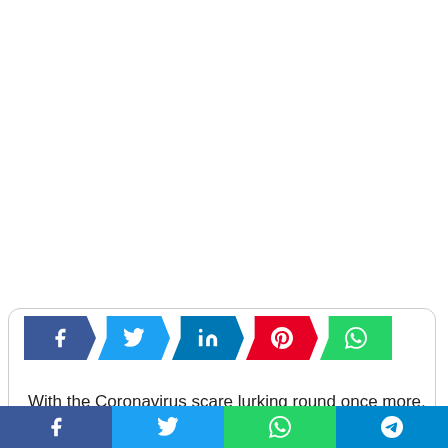[Figure (infographic): Social media share buttons row: Facebook (blue), Twitter (light blue), LinkedIn (dark blue), Pinterest (red), WhatsApp (green) displayed as parallelogram/chevron shapes inside a rounded card border.]
With the Coronavirus scare lurking round once more,
[Figure (infographic): Bottom social sharing bar with four buttons: Facebook (dark blue), Twitter (light blue), WhatsApp (green), Telegram (blue), each with white icon.]